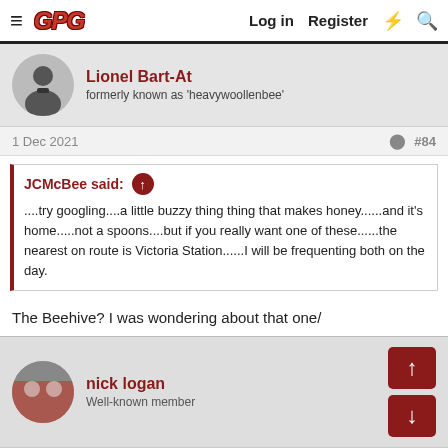GPG  Log in  Register
Lionel Bart-At
formerly known as 'heavywoollenbee'
1 Dec 2021  #84
JCMcBee said: ↑
....try googling....a little buzzy thing thing that makes honey......and it's home.....not a spoons....but if you really want one of these......the nearest on route is Victoria Station......I will be frequenting both on the day.
The Beehive? I was wondering about that one/
nick logan
Well-known member
1 Dec 2021  #85